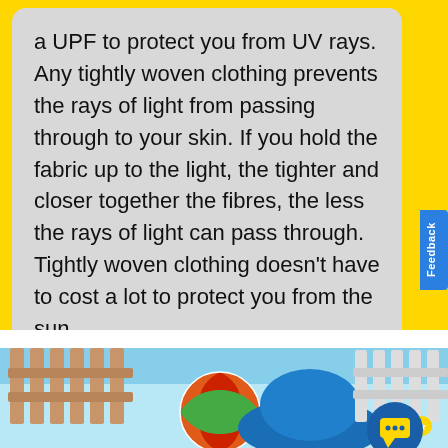a UPF to protect you from UV rays. Any tightly woven clothing prevents the rays of light from passing through to your skin. If you hold the fabric up to the light, the tighter and closer together the fibres, the less the rays of light can pass through. Tightly woven clothing doesn't have to cost a lot to protect you from the sun.
[Figure (illustration): Bottom section showing a light blue banner stripe and an illustrated scene with wooden fence posts on the left, a colorful beach ball (orange, red, green, blue segments), a large blue umbrella or hat shape, white fence posts on the right, and a circular blue chat icon with a speech bubble symbol in the lower right corner.]